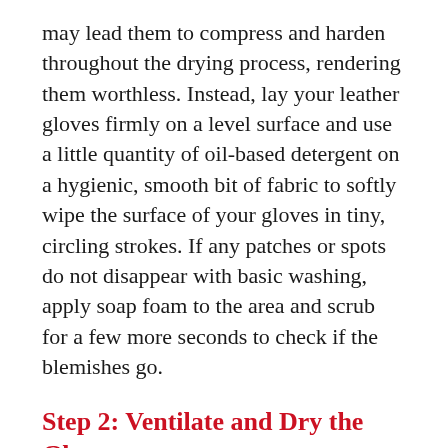may lead them to compress and harden throughout the drying process, rendering them worthless. Instead, lay your leather gloves firmly on a level surface and use a little quantity of oil-based detergent on a hygienic, smooth bit of fabric to softly wipe the surface of your gloves in tiny, circling strokes. If any patches or spots do not disappear with basic washing, apply soap foam to the area and scrub for a few more seconds to check if the blemishes go.
Step 2: Ventilate and Dry the Gloves
Once the dirt and filth on the surface of your leather gloves remove, you'll have to dry them properly. The most accessible approach is to place them in a good room